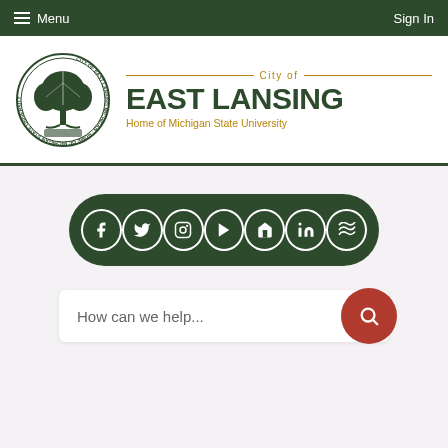Menu    Sign In
[Figure (logo): City of East Lansing seal and wordmark logo. Circular seal on left, 'City of EAST LANSING Home of Michigan State University' text on right.]
[Figure (infographic): Dark green pill-shaped social media icon bar with icons for Facebook, Twitter, Instagram, YouTube, Home/Nextdoor, LinkedIn, and Alignable]
How can we help...